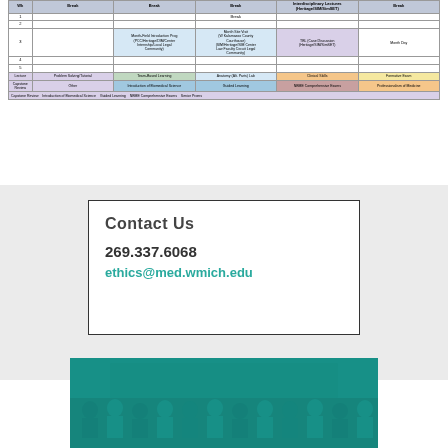[Figure (table-as-image): Partial view of a medical school curriculum schedule table showing rows for weeks/sessions with columns for different course components including breaks, lectures, team-based learning, introductory clinical experiences, clinical skills, and formative exams. Colored legend at bottom.]
Contact Us
269.337.6068
ethics@med.wmich.edu
[Figure (photo): Group photo of medical students with a teal/turquoise color overlay]